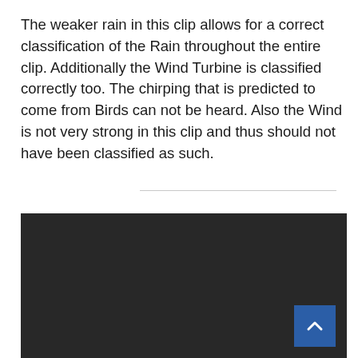The weaker rain in this clip allows for a correct classification of the Rain throughout the entire clip. Additionally the Wind Turbine is classified correctly too. The chirping that is predicted to come from Birds can not be heard. Also the Wind is not very strong in this clip and thus should not have been classified as such.
[Figure (other): Dark/black video player area with a back-to-top button (blue square with white upward arrow chevron) in the bottom-right corner]